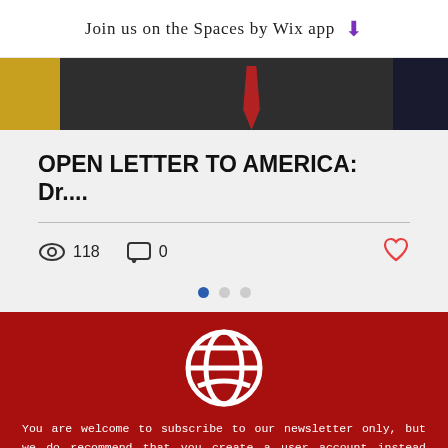Join us on the Spaces by Wix app
[Figure (photo): Cropped photo of a man in a dark suit with a red tie, partially visible, with gold/yellow element on the left and dark blue on the right]
OPEN LETTER TO AMERICA: Dr....
118 views  0 comments
[Figure (logo): White circular globe/world logo on dark red background]
You are welcome to subscribe to our newsletter only, but we do recommend that you create a user account instead which will give you access to members-only content and automatically add you to our mail list. Creating a free member account also gives you automatic notifications of new posts. Note: We will